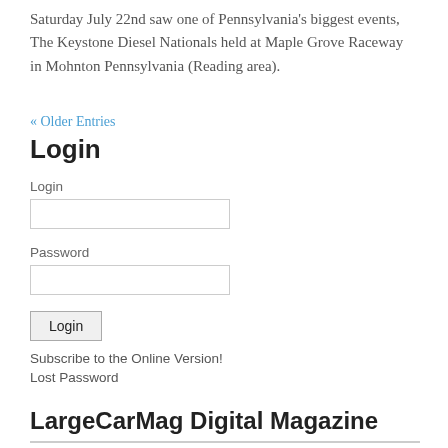Saturday July 22nd saw one of Pennsylvania's biggest events, The Keystone Diesel Nationals held at Maple Grove Raceway in Mohnton Pennsylvania (Reading area).
« Older Entries
Login
Login
Password
Login
Subscribe to the Online Version!
Lost Password
LargeCarMag Digital Magazine